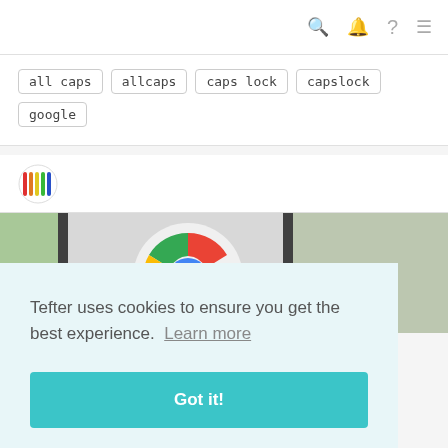search bell help menu icons
all caps
allcaps
caps lock
capslock
google
[Figure (logo): Rainbow colored circular logo with vertical bars]
[Figure (photo): Close-up photo of Google Chrome browser logo on a device screen]
Tefter uses cookies to ensure you get the best experience. Learn more
Got it!